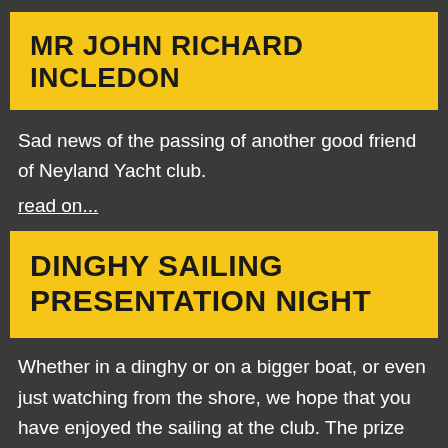MR JOHN RICHARD INCLEDON
Sad news of the passing of another good friend of Neyland Yacht club.
read on...
DINGHY SAILING PRESENTATION NIGHT
Whether in a dinghy or on a bigger boat, or even just watching from the shore, we hope that you have enjoyed the sailing at the club. The prize giving event for dinghy and youth training sailors is on 15th November, see event poster below or link to PDF here.  For more details,